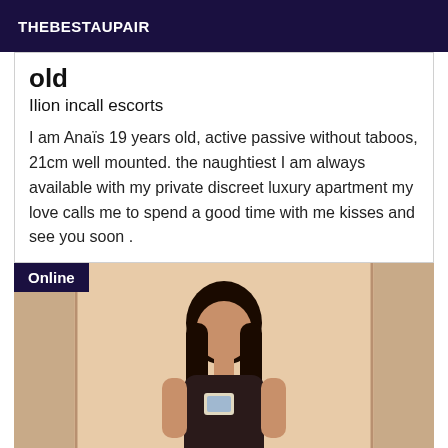THEBESTAUPAIR
old
Ilion incall escorts
I am Anaïs 19 years old, active passive without taboos, 21cm well mounted. the naughtiest I am always available with my private discreet luxury apartment my love calls me to spend a good time with me kisses and see you soon .
[Figure (photo): Mirror selfie photo of a young woman with long dark hair in a bathroom/room setting. An 'Online' badge appears in the top-left corner of the image.]